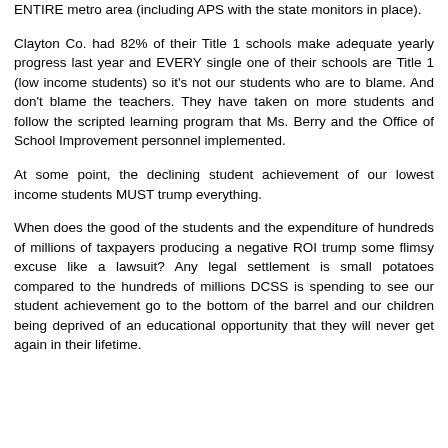ENTIRE metro area (including APS with the state monitors in place).
Clayton Co. had 82% of their Title 1 schools make adequate yearly progress last year and EVERY single one of their schools are Title 1 (low income students) so it's not our students who are to blame. And don't blame the teachers. They have taken on more students and follow the scripted learning program that Ms. Berry and the Office of School Improvement personnel implemented.
At some point, the declining student achievement of our lowest income students MUST trump everything.
When does the good of the students and the expenditure of hundreds of millions of taxpayers producing a negative ROI trump some flimsy excuse like a lawsuit? Any legal settlement is small potatoes compared to the hundreds of millions DCSS is spending to see our student achievement go to the bottom of the barrel and our children being deprived of an educational opportunity that they will never get again in their lifetime.